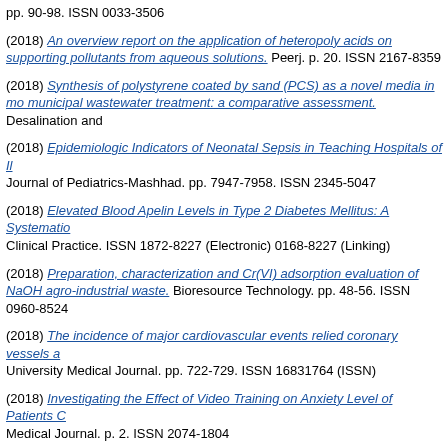pp. 90-98. ISSN 0033-3506
(2018) An overview report on the application of heteropoly acids on supporting pollutants from aqueous solutions. Peerj. p. 20. ISSN 2167-8359
(2018) Synthesis of polystyrene coated by sand (PCS) as a novel media in municipal wastewater treatment: a comparative assessment. Desalination and
(2018) Epidemiologic Indicators of Neonatal Sepsis in Teaching Hospitals of Il Journal of Pediatrics-Mashhad. pp. 7947-7958. ISSN 2345-5047
(2018) Elevated Blood Apelin Levels in Type 2 Diabetes Mellitus: A Systematic Clinical Practice. ISSN 1872-8227 (Electronic) 0168-8227 (Linking)
(2018) Preparation, characterization and Cr(VI) adsorption evaluation of NaOH agro-industrial waste. Bioresource Technology. pp. 48-56. ISSN 0960-8524
(2018) The incidence of major cardiovascular events relied coronary vessels a University Medical Journal. pp. 722-729. ISSN 16831764 (ISSN)
(2018) Investigating the Effect of Video Training on Anxiety Level of Patients C Medical Journal. p. 2. ISSN 2074-1804
(2018) Removal of acetaminophen and ibuprofen from aqueous solutions by a as a low-cost biosorbent. Journal of Environmental Chemical Engineering. pp.
O
(2018) The effect of care plan based on Roy Adaptation Model on the spiritual Science. pp. 418-422. ISSN 2321-7359